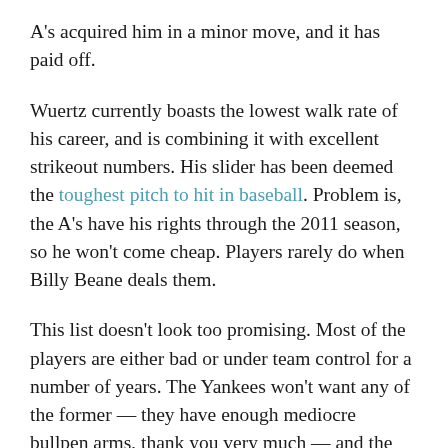A's acquired him in a minor move, and it has paid off.
Wuertz currently boasts the lowest walk rate of his career, and is combining it with excellent strikeout numbers. His slider has been deemed the toughest pitch to hit in baseball. Problem is, the A's have his rights through the 2011 season, so he won't come cheap. Players rarely do when Billy Beane deals them.
This list doesn't look too promising. Most of the players are either bad or under team control for a number of years. The Yankees won't want any of the former — they have enough mediocre bullpen arms, thank you very much — and the latter might cost a bit much. Still, if they're going